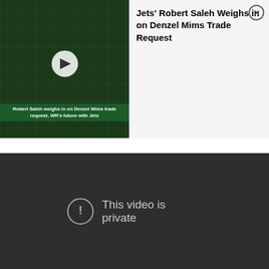[Figure (screenshot): Embedded video thumbnail showing Jets press conference with Robert Saleh, ticker bar reading 'Robert Saleh weighs in on Denzel Mims trade request, WR's future with Jets', with a play button overlay. Adjacent panel shows title 'Jets' Robert Saleh Weighs in on Denzel Mims Trade Request' with a close (X) button.]
Please be sure to check out our 10th Anniversary video for some additional thoughts and we would love to hear from you in our Forums or on Facebook and Twitter!
[Figure (screenshot): Embedded video player with dark background showing error state: circle with exclamation mark icon and text 'This video is private']